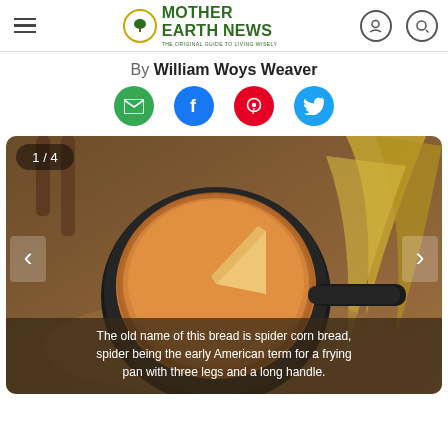Mother Earth News — The Original Guide to Living Wisely
By William Woys Weaver
[Figure (other): Social sharing icons row: email (green), Facebook (blue), Pinterest (red), Twitter (blue)]
[Figure (photo): Photo of cornbread in a black cast-iron skillet with a slice cut out, placed on corn husks with a wooden chair in background. Counter reads 1/4.]
The old name of this bread is spider corn bread, spider being the early American term for a frying pan with three legs and a long handle.